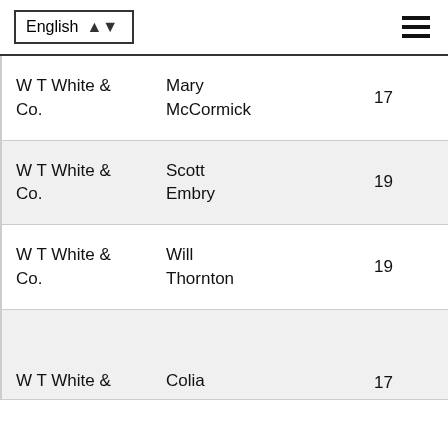English
| Company | Name | Number |
| --- | --- | --- |
| W T White & Co. | Mary McCormick | 17 |
| W T White & Co. | Scott Embry | 19 |
| W T White & Co. | Will Thornton | 19 |
| W T White & | Colia | 17 |